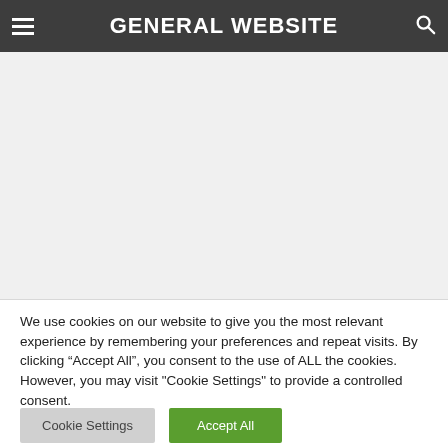GENERAL WEBSITE
[Figure (other): Empty white/light gray content area placeholder below the navigation bar]
We use cookies on our website to give you the most relevant experience by remembering your preferences and repeat visits. By clicking "Accept All", you consent to the use of ALL the cookies. However, you may visit "Cookie Settings" to provide a controlled consent.
Cookie Settings | Accept All